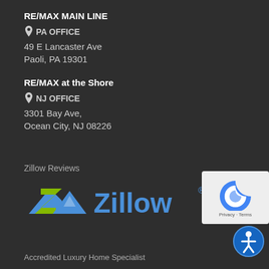RE/MAX MAIN LINE
PA OFFICE
49 E Lancaster Ave
Paoli, PA 19301
RE/MAX at the Shore
NJ OFFICE
3301 Bay Ave,
Ocean City, NJ 08226
Zillow Reviews
[Figure (logo): Zillow logo with blue lettering and green/blue house icon]
[Figure (logo): reCAPTCHA badge with Privacy and Terms text]
[Figure (illustration): Blue circle accessibility icon with person figure]
Accredited Luxury Home Specialist